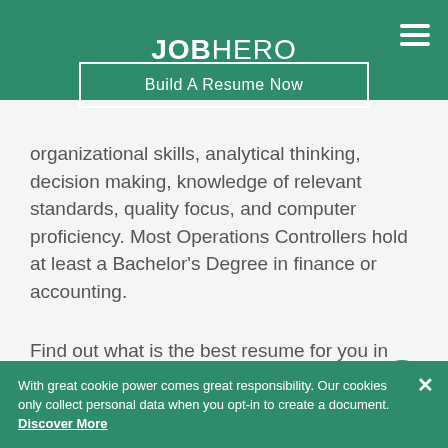JOBHERO
Build A Resume Now
organizational skills, analytical thinking, decision making, knowledge of relevant standards, quality focus, and computer proficiency. Most Operations Controllers hold at least a Bachelor's Degree in finance or accounting.
Find out what is the best resume for you in our Ultimate Resume Format Guide.
With great cookie power comes great responsibility. Our cookies only collect personal data when you opt-in to create a document. Discover More